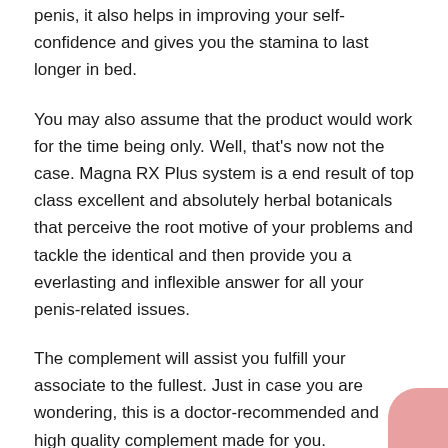penis, it also helps in improving your self-confidence and gives you the stamina to last longer in bed.
You may also assume that the product would work for the time being only. Well, that's now not the case. Magna RX Plus system is a end result of top class excellent and absolutely herbal botanicals that perceive the root motive of your problems and tackle the identical and then provide you a everlasting and inflexible answer for all your penis-related issues.
The complement will assist you fulfill your associate to the fullest. Just in case you are wondering, this is a doctor-recommended and high quality complement made for you.
Magna RX Plus